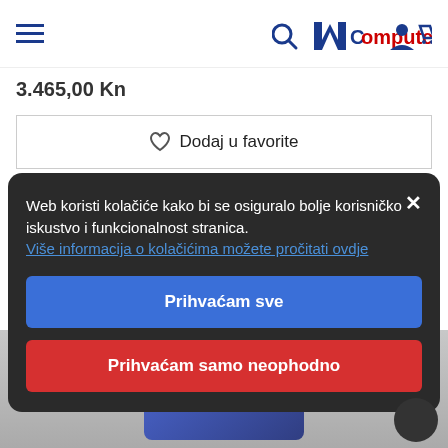MComputers navigation header
3.465,00 Kn
♡ Dodaj u favorite
☐ Usporedi
🛒 Dodaj u košaricu
[Figure (screenshot): Product image background showing a dark device]
Web koristi kolačiće kako bi se osiguralo bolje korisničko iskustvo i funkcionalnost stranica.
Više informacija o kolačićima možete pročitati ovdje
Prihvaćam sve
Prihvaćam samo neophodno